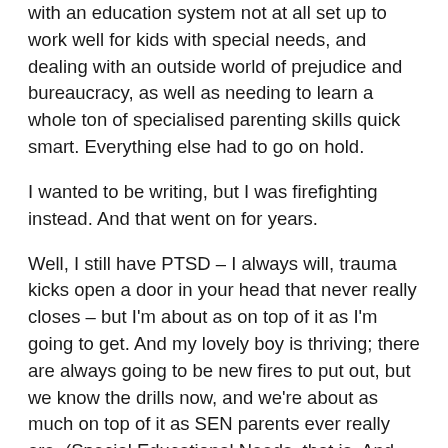with an education system not at all set up to work well for kids with special needs, and dealing with an outside world of prejudice and bureaucracy, as well as needing to learn a whole ton of specialised parenting skills quick smart. Everything else had to go on hold.
I wanted to be writing, but I was firefighting instead. And that went on for years.
Well, I still have PTSD – I always will, trauma kicks open a door in your head that never really closes – but I'm about as on top of it as I'm going to get. And my lovely boy is thriving; there are always going to be new fires to put out, but we know the drills now, and we're about as much on top of it as SEN parents ever really are. (Special Educational Needs, that is. And the answer to how on top of it we ever get is, 'About as much as any imperfect human being is ever on top of their parenting.')
You live that life, though, and after a while it starts you thinking along different paths.
One day I was watching CBeebies with my son – and by